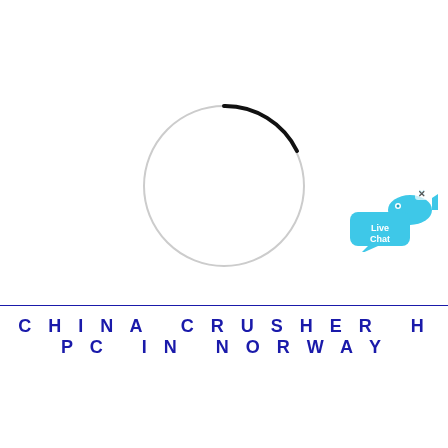[Figure (other): A loading spinner circle with a dark arc at the top indicating rotation, rendered in light gray with a black segment at the top.]
[Figure (illustration): A Live Chat button/widget icon showing a light blue speech bubble with 'Live Chat' text and a small fish icon, with a close X in the corner.]
CHINA CRUSHER HPC IN NORWAY